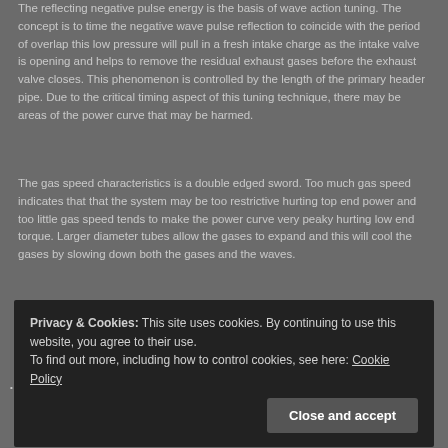The reflecting negative pulse energy is the basis of wave action tuning. The concept is to time the negative wave pulse reflection to coincide with the period of overlap this low pressure will pull in a fresh intake charge as the intake valve is opening and helps to remove the residual exhaust gases before the exhaust valve closes. This phenomenon is controlled by the length of the primary header pipe. Due to the critical timing aspect of this tuning technique, there may be areas of the power curve that may be harmed.
The gas speed characteristics is a double edged sword. Too much gas speed indicates that that the system may be too restrictive hurting top end power and too little gas speed tends to make the power curve very peaky hurting low end torque. Larger diameter tubes allow the gases to expand and this will cool the gases by slowing down both the gases and the waves.
Exhaust system design is a balance all of these events and their timing. Even with the best compromise of exhaust pipe diameter and length, the collector outlet sizing can optimize or minimize the best design.
Privacy & Cookies: This site uses cookies. By continuing to use this website, you agree to their use.
To find out more, including how to control cookies, see here: Cookie Policy
Close and accept
collector design including the number of pipes per collector and the outlet sizing